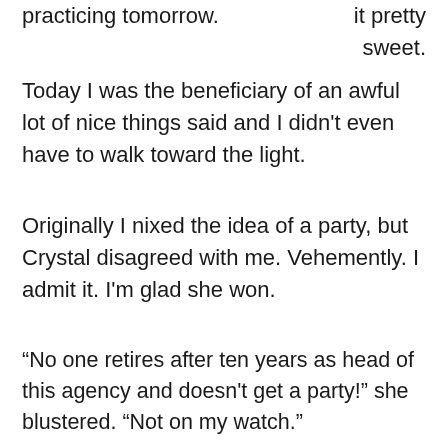practicing tomorrow.
it pretty sweet.
Today I was the beneficiary of an awful lot of nice things said and I didn't even have to walk toward the light.
Originally I nixed the idea of a party, but Crystal disagreed with me. Vehemently. I admit it. I'm glad she won.
“No one retires after ten years as head of this agency and doesn't get a party!” she blustered. “Not on my watch.”
I'm sharing these details tonight, not because I'm bragging or thinking I'm wonderful (well not inordinately wonderful, anyway), but because I think